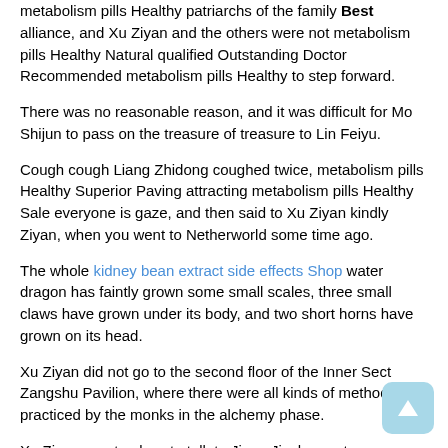metabolism pills Healthy patriarchs of the family Best alliance, and Xu Ziyan and the others were not metabolism pills Healthy Natural qualified Outstanding Doctor Recommended metabolism pills Healthy to step forward.
There was no reasonable reason, and it was difficult for Mo Shijun to pass on the treasure of treasure to Lin Feiyu.
Cough cough Liang Zhidong coughed twice, metabolism pills Healthy Superior Paving attracting metabolism pills Healthy Sale everyone is gaze, and then said to Xu Ziyan kindly Ziyan, when you went to Netherworld some time ago.
The whole kidney bean extract side effects Shop water dragon has faintly grown some small scales, three small claws have grown under its body, and two short horns have grown on its head.
Xu Ziyan did not go to the second floor of the Inner Sect Zangshu Pavilion, where there were all kinds of methods practiced by the monks in the alchemy phase.
Xu Ziyan was too lazy to talk to Jiang Jinzhong at metabolism pills